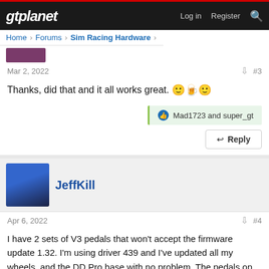gtplanet | Log in | Register
Home > Forums > Sim Racing Hardware >
Mar 2, 2022   #3
Thanks, did that and it all works great. 🙂🍺🙂
Mad1723 and super_gt
Reply
JeffKill
Apr 6, 2022   #4
I have 2 sets of V3 pedals that won't accept the firmware update 1.32. I'm using driver 439 and I've updated all my wheels, and the DD Pro base with no problem. The pedals on the other hand just won't update. I only have the USB to PC connected (never connected USB and RJ12 at the same time).